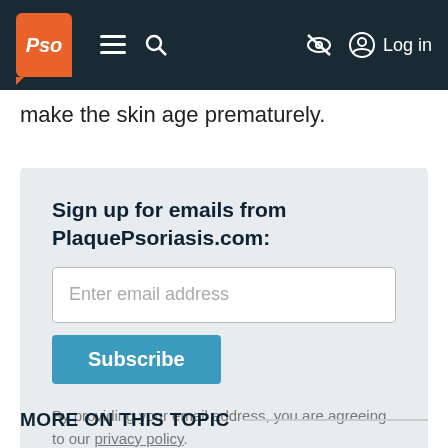Pso | ≡ 🔍 | 🚫 | Log in
make the skin age prematurely.
Sign up for emails from PlaquePsoriasis.com:
Enter email address
Subscribe
By providing your email address, you are agreeing to our privacy policy.
MORE ON THIS TOPIC